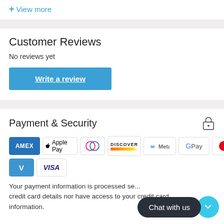+ View more
Customer Reviews
No reviews yet
Write a review
Payment & Security
[Figure (infographic): Payment method logos: AMEX, Apple Pay, Diners Club, Discover, Meta, Google Pay, Mastercard, PayPal, Shop Pay, Venmo, Visa]
Your payment information is processed se... credit card details nor have access to your credit card information.